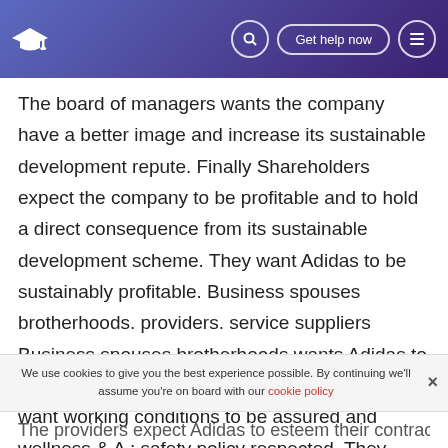Get help now
The board of managers wants the company have a better image and increase its sustainable development repute. Finally Shareholders expect the company to be profitable and to hold a direct consequence from its sustainable development scheme. They want Adidas to be sustainably profitable. Business spouses brotherhoods. providers. service suppliers Business spouses brotherhoods wants Adidas to esteem the labour rights for the workers. They want working conditions to be assured and wellness & A ; safety policy respected. They expect Adidas to procure the
We use cookies to give you the best experience possible. By continuing we'll assume you're on board with our cookie policy
The providers expect Adidas to esteem their contract and